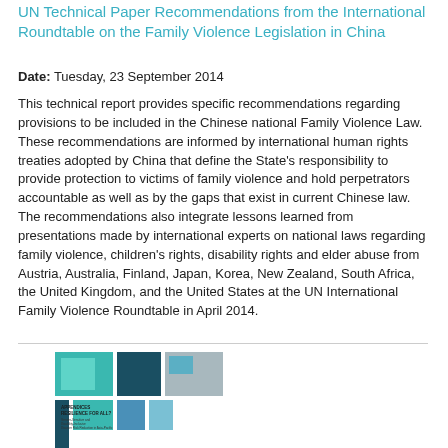UN Technical Paper Recommendations from the International Roundtable on the Family Violence Legislation in China
Date: Tuesday, 23 September 2014
This technical report provides specific recommendations regarding provisions to be included in the Chinese national Family Violence Law. These recommendations are informed by international human rights treaties adopted by China that define the State's responsibility to provide protection to victims of family violence and hold perpetrators accountable as well as by the gaps that exist in current Chinese law. The recommendations also integrate lessons learned from presentations made by international experts on national laws regarding family violence, children's rights, disability rights and elder abuse from Austria, Australia, Finland, Japan, Korea, New Zealand, South Africa, the United Kingdom, and the United States at the UN International Family Violence Roundtable in April 2014.
[Figure (illustration): Book cover thumbnail showing a geometric tiled design in teal, dark teal, blue, and grey squares with text 'APPENDICES RESILIENCE FOR ALL?' and subtitle text below]